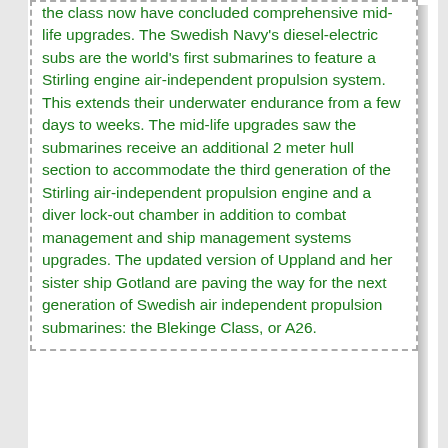the class now have concluded comprehensive mid-life upgrades. The Swedish Navy's diesel-electric subs are the world's first submarines to feature a Stirling engine air-independent propulsion system. This extends their underwater endurance from a few days to weeks. The mid-life upgrades saw the submarines receive an additional 2 meter hull section to accommodate the third generation of the Stirling air-independent propulsion engine and a diver lock-out chamber in addition to combat management and ship management systems upgrades. The updated version of Uppland and her sister ship Gotland are paving the way for the next generation of Swedish air independent propulsion submarines: the Blekinge Class, or A26.